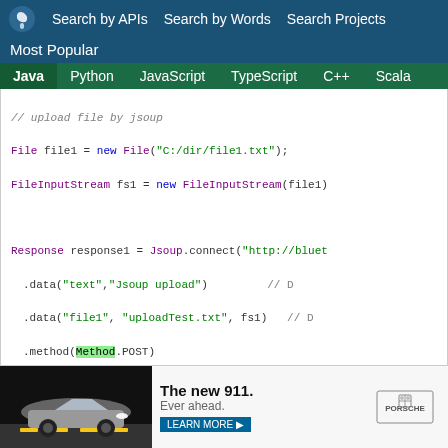Search by APIs  Search by Words  Search Projects
Most Popular
Java  Python  JavaScript  TypeScript  C++  Scala
[Figure (screenshot): Java code snippet showing file upload using Jsoup: File file1 = new File("C:/dir/file1.txt"); FileInputStream fs1 = new FileInputStream(file1); Response response1 = Jsoup.connect("http://bluet...").data("text","Jsoup upload").data("file1", "uploadTest.txt", fs1).method(Method.POST).execute();]
Example #26
[Figure (photo): Porsche 911 advertisement: The new 911. Ever ahead. LEARN MORE button and Porsche logo.]